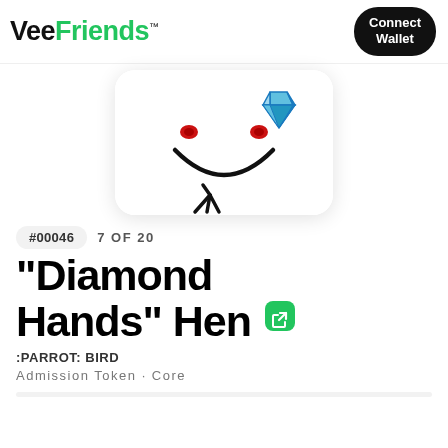VeeFriends™  Connect Wallet
[Figure (illustration): Partial NFT card showing a cartoon hen illustration with diamond icon, rounded white card with drop shadow]
#00046  7 OF 20
"Diamond Hands" Hen
:PARROT: BIRD
Admission Token · Core